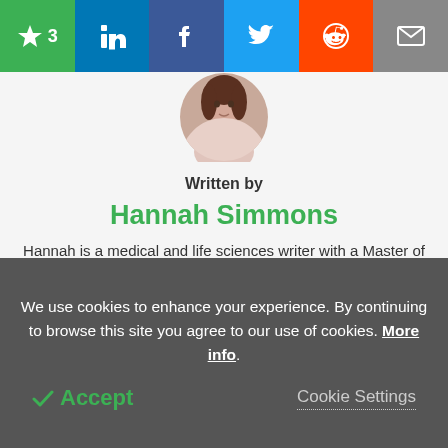[Figure (other): Social share bar with star/bookmark (count: 3), LinkedIn, Facebook, Twitter, Reddit, and email buttons]
[Figure (photo): Circular profile photo of Hannah Simmons, a woman with dark hair]
Written by
Hannah Simmons
Hannah is a medical and life sciences writer with a Master of Science (M.Sc.) degree from Lancaster University, UK. Before becoming a writer, Hannah's research focussed on the discovery of biomarkers for Alzheimer's and Parkinson's disease. She also worked to further elucidate the biological pathways involved in
We use cookies to enhance your experience. By continuing to browse this site you agree to our use of cookies. More info.
✔ Accept
Cookie Settings